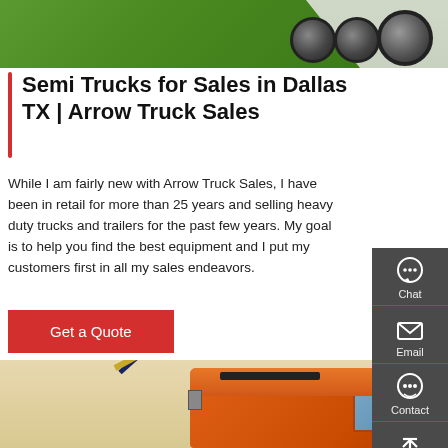[Figure (photo): Top photograph of green semi truck cab and wheels on pavement]
Semi Trucks for Sales in Dallas TX | Arrow Truck Sales
While I am fairly new with Arrow Truck Sales, I have been in retail for more than 25 years and selling heavy duty trucks and trailers for the past few years. My goal is to help you find the best equipment and I put my customers first in all my sales endeavors.
[Figure (screenshot): Red 'Get a Quote' button]
[Figure (photo): Orange semi truck with crane arm at bottom of page]
[Figure (infographic): Dark sidebar with Chat, Email, Contact, and Top navigation icons]